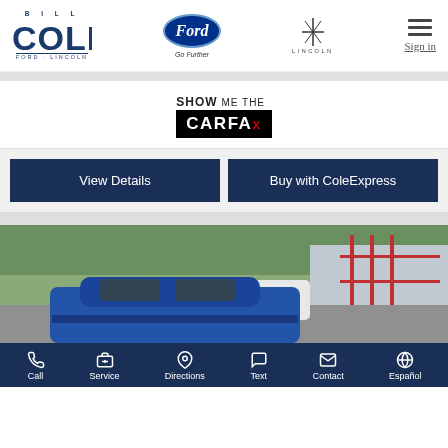[Figure (logo): Bill Cole Ford Lincoln dealership logo, Ford oval logo with Go Further tagline, Lincoln logo, and hamburger menu with Sign in link]
[Figure (logo): Show Me The CARFAX badge]
View Details
Buy with ColeExpress
[Figure (photo): Partial photo of a blue vehicle in a dealership lot with trees and buildings in background]
Call  Service  Directions  Text  Contact  Español